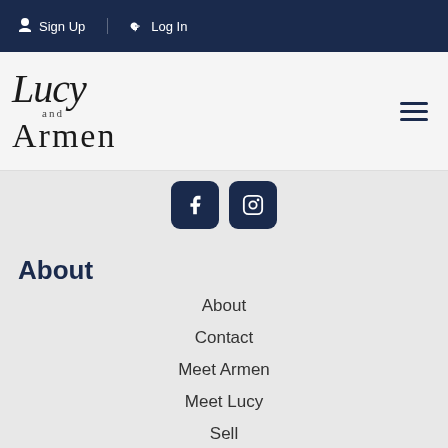Sign Up  Log In
[Figure (logo): Lucy and Armen real estate logo with cursive 'Lucy' and serif 'Armen' text]
[Figure (other): Social media icons: Facebook and another platform, dark navy rounded square buttons]
About
About
Contact
Meet Armen
Meet Lucy
Sell
Properties